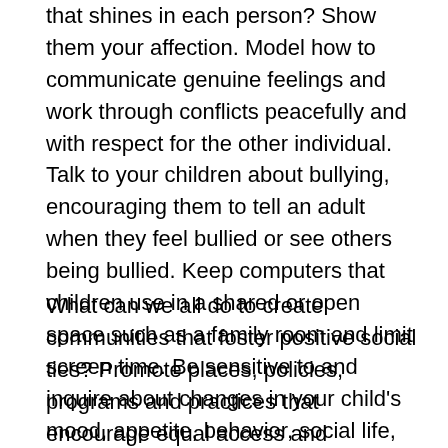that shines in each person? Show them your affection. Model how to communicate genuine feelings and work through conflicts peacefully and with respect for the other individual. Talk to your children about bullying, encouraging them to tell an adult when they feel bullied or see others being bullied. Keep computers that children use in a shared or open space such as a family room and limit screen time. Be sensitive to and inquire about changes in your child's mood, appetite, behavior, social life, grades, sleep patterns and health concerns.
What can we all do to create communities that foster positive social ties? Promote places, policies, programs and practices that encourage equal access and discourage power relationships. Effective interventions include more streetlights, sidewalks, open parks, neighborhood